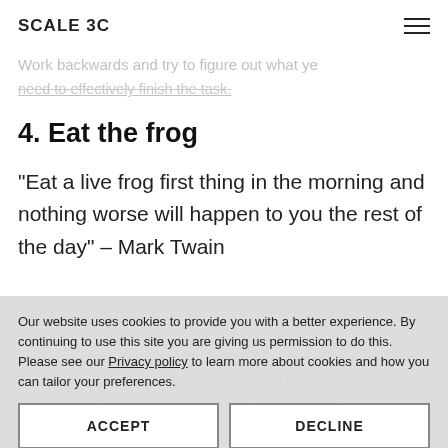SCALE 3C
tasks that can help you get it done faster.
Work backwards and try to figure out what you need to effectively finish the task.
4. Eat the frog
“Eat a live frog first thing in the morning and nothing worse will happen to you the rest of the day” – Mark Twain
Our website uses cookies to provide you with a better experience. By continuing to use this site you are giving us permission to do this. Please see our Privacy policy to learn more about cookies and how you can tailor your preferences.
No need to procrastinate or tackle one huge task.
the most difficult tasks we dread. That makes much more sense and sounds plausible too.